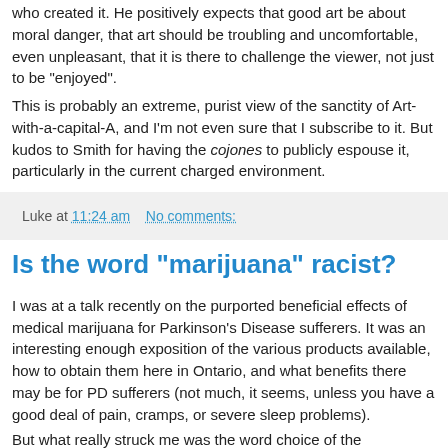who created it. He positively expects that good art be about moral danger, that art should be troubling and uncomfortable, even unpleasant, that it is there to challenge the viewer, not just to be "enjoyed". This is probably an extreme, purist view of the sanctity of Art-with-a-capital-A, and I'm not even sure that I subscribe to it. But kudos to Smith for having the cojones to publicly espouse it, particularly in the current charged environment.
Luke at 11:24 am   No comments:
Is the word "marijuana" racist?
I was at a talk recently on the purported beneficial effects of medical marijuana for Parkinson's Disease sufferers. It was an interesting enough exposition of the various products available, how to obtain them here in Ontario, and what benefits there may be for PD sufferers (not much, it seems, unless you have a good deal of pain, cramps, or severe sleep problems). But what really struck me was the word choice of the...